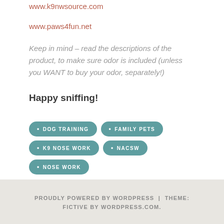www.k9nwsource.com
www.paws4fun.net
Keep in mind – read the descriptions of the product, to make sure odor is included (unless you WANT to buy your odor, separately!)
Happy sniffing!
DOG TRAINING
FAMILY PETS
K9 NOSE WORK
NACSW
NOSE WORK
PROUDLY POWERED BY WORDPRESS | THEME: FICTIVE BY WORDPRESS.COM.